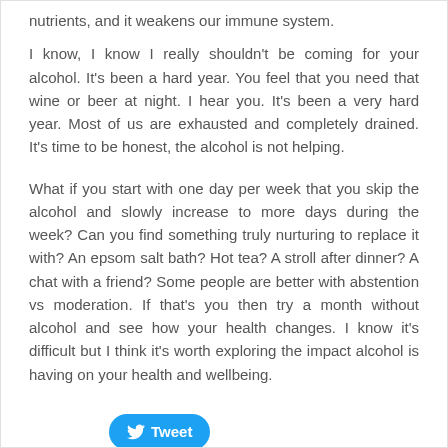nutrients, and it weakens our immune system.
I know, I know I really shouldn't be coming for your alcohol. It's been a hard year. You feel that you need that wine or beer at night. I hear you. It's been a very hard year. Most of us are exhausted and completely drained. It's time to be honest, the alcohol is not helping.
What if you start with one day per week that you skip the alcohol and slowly increase to more days during the week? Can you find something truly nurturing to replace it with? An epsom salt bath? Hot tea? A stroll after dinner? A chat with a friend? Some people are better with abstention vs moderation. If that's you then try a month without alcohol and see how your health changes. I know it's difficult but I think it's worth exploring the impact alcohol is having on your health and wellbeing.
[Figure (other): Tweet button with Twitter bird icon]
2 Comments